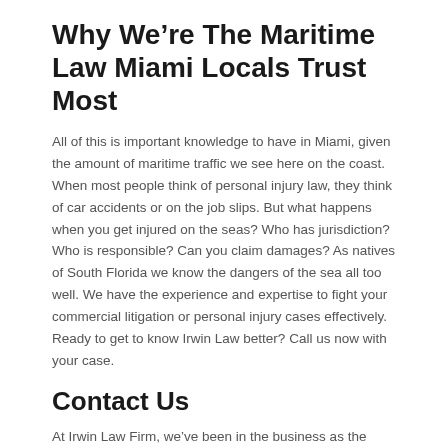Why We're The Maritime Law Miami Locals Trust Most
All of this is important knowledge to have in Miami, given the amount of maritime traffic we see here on the coast. When most people think of personal injury law, they think of car accidents or on the job slips. But what happens when you get injured on the seas? Who has jurisdiction? Who is responsible? Can you claim damages? As natives of South Florida we know the dangers of the sea all too well. We have the experience and expertise to fight your commercial litigation or personal injury cases effectively. Ready to get to know Irwin Law better? Call us now with your case.
Contact Us
At Irwin Law Firm, we've been in the business as the maritime law Miami locals come to again and again for over 25 years. Whether you're looking for commercial